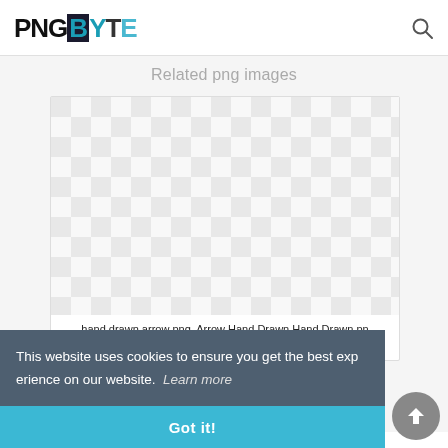PNGBYTE
Related png images
[Figure (other): Checkerboard transparency pattern representing a PNG image thumbnail for 'hand drawn arrow png, Arrow Hand Drawn, Hand Drawn png']
hand drawn arrow png, Arrow Hand Drawn,Hand Drawn png
This website uses cookies to ensure you get the best experience on our website.  Learn more
Got it!
hand drawn arrow png, Transparent Hand Draw Arrow,Han